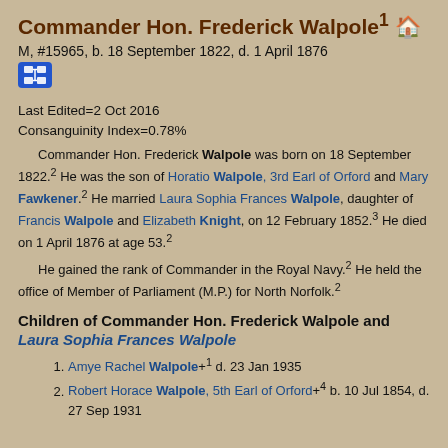Commander Hon. Frederick Walpole¹ 🏠
M, #15965, b. 18 September 1822, d. 1 April 1876
Last Edited=2 Oct 2016
Consanguinity Index=0.78%
Commander Hon. Frederick Walpole was born on 18 September 1822.² He was the son of Horatio Walpole, 3rd Earl of Orford and Mary Fawkener.² He married Laura Sophia Frances Walpole, daughter of Francis Walpole and Elizabeth Knight, on 12 February 1852.³ He died on 1 April 1876 at age 53.²
He gained the rank of Commander in the Royal Navy.² He held the office of Member of Parliament (M.P.) for North Norfolk.²
Children of Commander Hon. Frederick Walpole and Laura Sophia Frances Walpole
Amye Rachel Walpole+¹ d. 23 Jan 1935
Robert Horace Walpole, 5th Earl of Orford+⁴ b. 10 Jul 1854, d. 27 Sep 1931